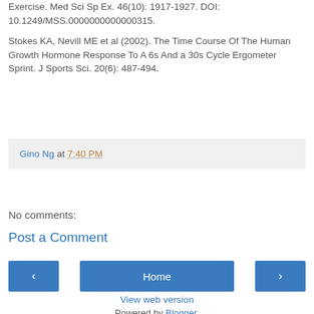Exercise. Med Sci Sp Ex. 46(10): 1917-1927. DOI: 10.1249/MSS.0000000000000315.
Stokes KA, Nevill ME et al (2002). The Time Course Of The Human Growth Hormone Response To A 6s And a 30s Cycle Ergometer Sprint. J Sports Sci. 20(6): 487-494.
Gino Ng at 7:40 PM
No comments:
Post a Comment
Home
View web version
Powered by Blogger.